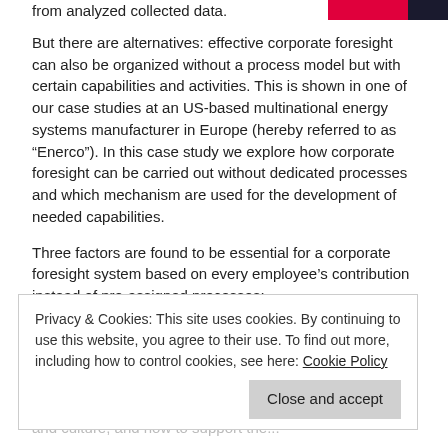from analyzed collected data.
But there are alternatives: effective corporate foresight can also be organized without a process model but with certain capabilities and activities. This is shown in one of our case studies at an US-based multinational energy systems manufacturer in Europe (hereby referred to as “Enerco”). In this case study we explore how corporate foresight can be carried out without dedicated processes and which mechanism are used for the development of needed capabilities.
Three factors are found to be essential for a corporate foresight system based on every employee’s contribution instead of pre-assigned processes:
the promotion of individual initiatives by every employee
a corporate culture which promotes vertical and
Privacy & Cookies: This site uses cookies. By continuing to use this website, you agree to their use. To find out more, including how to control cookies, see here: Cookie Policy
Regarding the first point, it is crucial for the company to have the right people: Enerco’s recruitment and development process is based on five Personality Traits that are believed to be supportive for organic growth: external focus